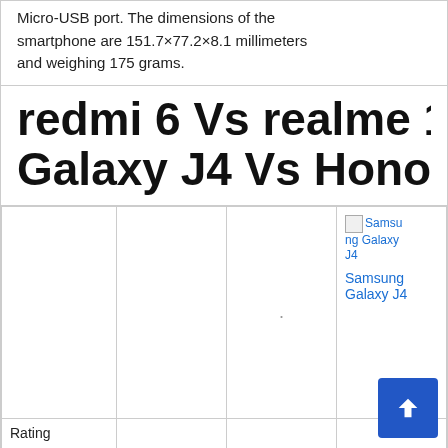Micro-USB port. The dimensions of the smartphone are 151.7×77.2×8.1 millimeters and weighing 175 grams.
redmi 6 Vs realme 1 Vs Samsung Galaxy J4 Vs Honor Honor 7
|  |  |  | Samsung Galaxy J4 |  |
| --- | --- | --- | --- | --- |
|  |  | . | Samsung Galaxy J4 |  |
| Rating |  |  |  |  |
| Overall NDTV |  |  |  |  |